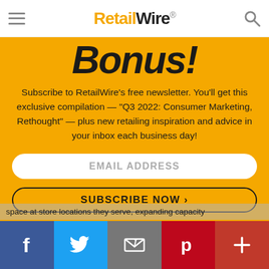RetailWire.
Bonus!
Subscribe to RetailWire's free newsletter. You'll get this exclusive compilation — "Q3 2022: Consumer Marketing, Rethought" — plus new retailing inspiration and advice in your inbox each business day!
EMAIL ADDRESS
SUBSCRIBE NOW ›
space at store locations they serve, expanding capacity
f  Twitter  Email  Pinterest  +